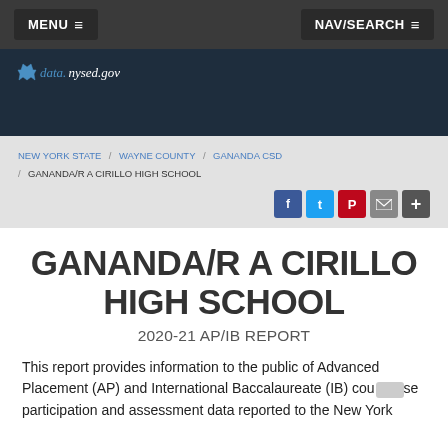MENU ≡    NAV/SEARCH ≡
[Figure (logo): data.nysed.gov logo with New York state icon]
NEW YORK STATE / WAYNE COUNTY / GANANDA CSD / GANANDA/R A CIRILLO HIGH SCHOOL
GANANDA/R A CIRILLO HIGH SCHOOL
2020-21 AP/IB REPORT
This report provides information to the public of Advanced Placement (AP) and International Baccalaureate (IB) course participation and assessment data reported to the New York